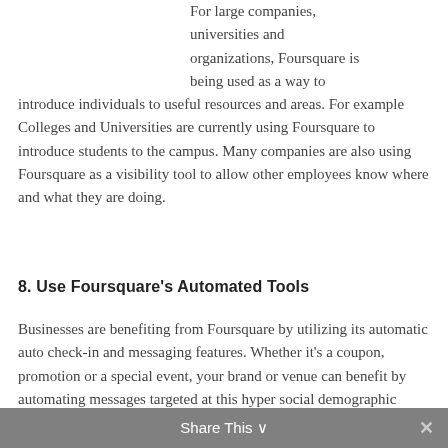For large companies, universities and organizations, Foursquare is being used as a way to introduce individuals to useful resources and areas. For example Colleges and Universities are currently using Foursquare to introduce students to the campus. Many companies are also using Foursquare as a visibility tool to allow other employees know where and what they are doing.
8. Use Foursquare's Automated Tools
Businesses are benefiting from Foursquare by utilizing its automatic auto check-in and messaging features. Whether it's a coupon, promotion or a special event, your brand or venue can benefit by automating messages targeted at this hyper social demographic
Share This ∨  ✕